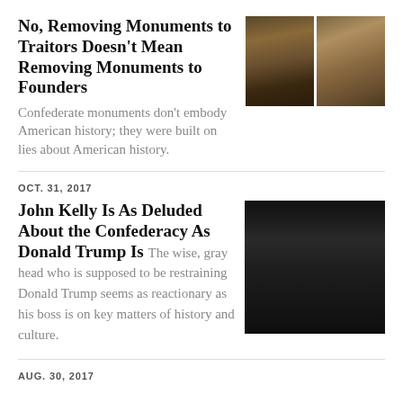No, Removing Monuments to Traitors Doesn't Mean Removing Monuments to Founders
Confederate monuments don't embody American history; they were built on lies about American history.
[Figure (photo): Two bronze statues side by side — a person on horseback and a standing figure]
OCT. 31, 2017
John Kelly Is As Deluded About the Confederacy As Donald Trump Is
The wise, gray head who is supposed to be restraining Donald Trump seems as reactionary as his boss is on key matters of history and culture.
[Figure (photo): Portrait photo of a gray-haired man in a dark suit with a red tie, looking stern]
AUG. 30, 2017